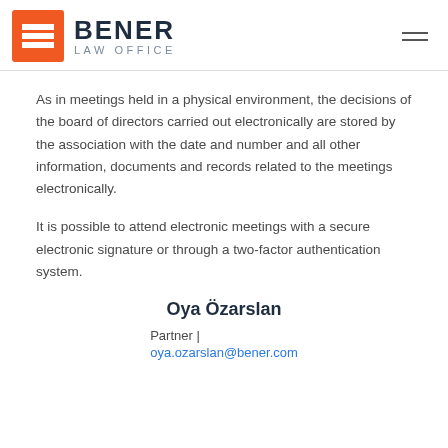[Figure (logo): Bener Law Office logo: orange square with white horizontal bars icon, and text BENER LAW OFFICE in dark navy]
As in meetings held in a physical environment, the decisions of the board of directors carried out electronically are stored by the association with the date and number and all other information, documents and records related to the meetings electronically.
It is possible to attend electronic meetings with a secure electronic signature or through a two-factor authentication system.
Oya Özarslan
Partner |
oya.ozarslan@bener.com